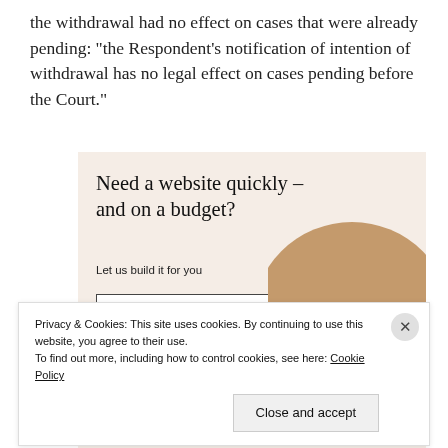the withdrawal had no effect on cases that were already pending: “the Respondent’s notification of intention of withdrawal has no legal effect on cases pending before the Court.”
[Figure (illustration): Advertisement banner with beige background. Headline: 'Need a website quickly – and on a budget?' Subtext: 'Let us build it for you'. Button: 'Let’s get started'. Image of person typing on laptop.]
Privacy & Cookies: This site uses cookies. By continuing to use this website, you agree to their use.
To find out more, including how to control cookies, see here: Cookie Policy
Close and accept